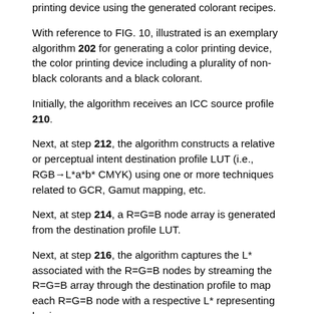printing device using the generated colorant recipes.
With reference to FIG. 10, illustrated is an exemplary algorithm 202 for generating a color printing device, the color printing device including a plurality of non-black colorants and a black colorant.
Initially, the algorithm receives an ICC source profile 210.
Next, at step 212, the algorithm constructs a relative or perceptual intent destination profile LUT (i.e., RGB→L*a*b* CMYK) using one or more techniques related to GCR, Gamut mapping, etc.
Next, at step 214, a R=G=B node array is generated from the destination profile LUT.
Next, at step 216, the algorithm captures the L* associated with the R=G=B nodes by streaming the R=G=B array through the destination profile to map each R=G=B node with a respective L* representing luminance.
Next, at step 218, a control algorithm is used to determine the black (K) only colorant recipe for rendering the R=G=B nodes on the color printing device with C=M=Y=0 as a